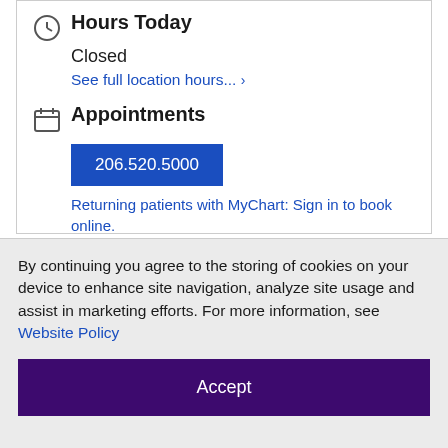Hours Today
Closed
See full location hours... ›
Appointments
206.520.5000
Returning patients with MyChart: Sign in to book online.
By continuing you agree to the storing of cookies on your device to enhance site navigation, analyze site usage and assist in marketing efforts. For more information, see Website Policy
Accept